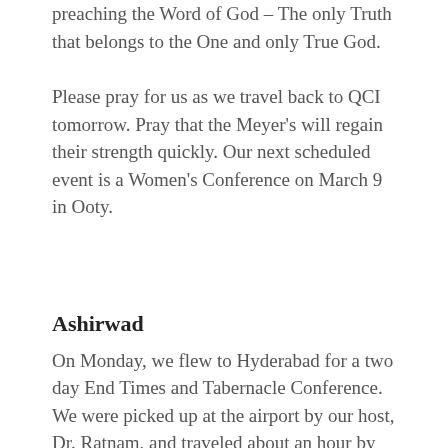preaching the Word of God – The only Truth that belongs to the One and only True God.
Please pray for us as we travel back to QCI tomorrow. Pray that the Meyer's will regain their strength quickly. Our next scheduled event is a Women's Conference on March 9 in Ooty.
Ashirwad
On Monday, we flew to Hyderabad for a two day End Times and Tabernacle Conference. We were picked up at the airport by our host, Dr. Ratnam, and traveled about an hour by car to the outer limits of the city. We are at a conference center known as